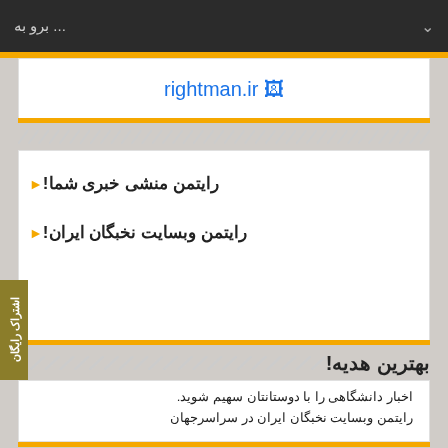برو به ...
[Figure (logo): rightman.ir logo/link text in blue with small image icon]
رایتمن منشی خبری شما!
رایتمن وبسایت نخبگان ایران!
بهترین هدیه!
اخبار دانشگاهی را با دوستانتان سهیم شوید. رایتمن وبسایت نخبگان ایران در سراسرجهان